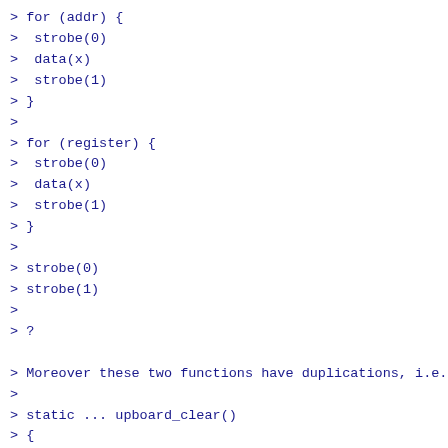> for (addr) {
>  strobe(0)
>  data(x)
>  strobe(1)
> }
>
> for (register) {
>  strobe(0)
>  data(x)
>  strobe(1)
> }
>
> strobe(0)
> strobe(1)
>
> ?

> Moreover these two functions have duplications, i.e.
>
> static ... upboard_clear()
> {
>  clear(0)
>  clear(1)
> }
>
> static ... upboard_set_address()
> {
>  for (addr) {
>   ...
>  }